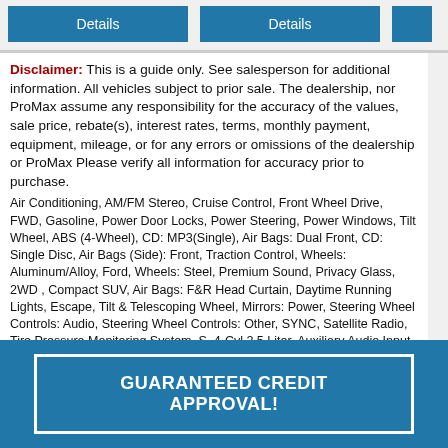[Figure (screenshot): Two blue 'Details' buttons and a partial third blue button at the top of the page]
Disclaimer: This is a guide only. See salesperson for additional information. All vehicles subject to prior sale. The dealership, nor ProMax assume any responsibility for the accuracy of the values, sale price, rebate(s), interest rates, terms, monthly payment, equipment, mileage, or for any errors or omissions of the dealership or ProMax Please verify all information for accuracy prior to purchase.
Air Conditioning, AM/FM Stereo, Cruise Control, Front Wheel Drive, FWD, Gasoline, Power Door Locks, Power Steering, Power Windows, Tilt Wheel, ABS (4-Wheel), CD: MP3(Single), Air Bags: Dual Front, CD: Single Disc, Air Bags (Side): Front, Traction Control, Wheels: Aluminum/Alloy, Ford, Wheels: Steel, Premium Sound, Privacy Glass, 2WD , Compact SUV, Air Bags: F&R Head Curtain, Daytime Running Lights, Escape, Tilt & Telescoping Wheel, Mirrors: Power, Steering Wheel Controls: Audio, Steering Wheel Controls: Other, SYNC, Satellite Radio, Tire Pressure Monitoring System, S, 4-Cyl 2.5 Liter, Auxiliary Audio Input, 2013, AdvanceTrac, USB Connection, Auto 6-Spd w/SelShft,
GUARANTEED CREDIT APPROVAL!